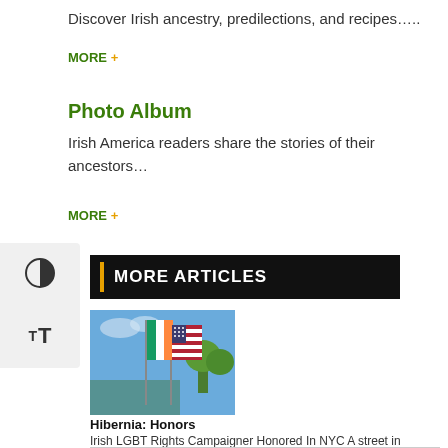Discover Irish ancestry, predilections, and recipes….
MORE +
Photo Album
Irish America readers share the stories of their ancestors…
MORE +
MORE ARTICLES
[Figure (photo): Flags including the Irish flag and American flag against a blue sky with trees]
Hibernia: Honors
Irish LGBT Rights Campaigner Honored In NYC A street in Queens, New York, has been named after B…